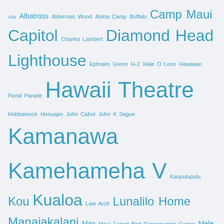[Figure (other): Tag cloud of Hawaiian and historical proper nouns in varying font sizes, all in teal/blue color on a light gray background. Terms include: Aha, Albatross, Alderman Wood, Aloha Camp, Buffalo, Camp Maui, Capitol, Charles Lambert, Diamond Head Lighthouse, Ephraim Green, H-2, Hale O Lono, Hawaiian Floral Parade, Hawaii Theatre, Hobbamock, Honuapo, John Cabot, John K Sague, Kamanawa, Kamehameha V, Kaopulupulu, Kou, Kualoa, Laie Arch, Lunalilo Home, Manaiakalani, Mao, Maui Forest Bird Conservation Center, Mele Kalikimaka, Merchant Adventurers, Mutiny on the Bounty, Pennsylvania, Peter Kakua, Pukoo, Punahou, Resolution, Salem, Sampan, Samuel Damon, Star Bulletin, Thomas Morton, TMT, Ulu, USO, Virginai]
HOʻOKULEANA LLC
Hoʻokuleana LLC is a Planning and Consulting firm assisting property owners with Land Use Planning